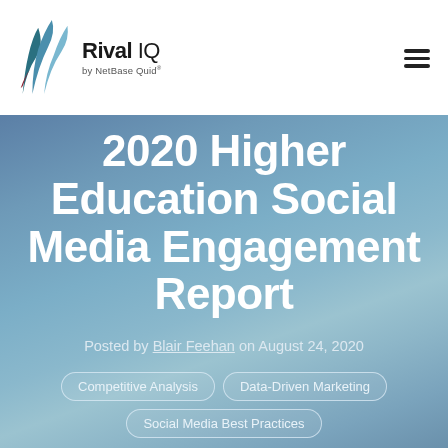[Figure (logo): Rival IQ by NetBase Quid logo with abstract mountain/wave SVG graphic in teal, blue, and dark red]
2020 Higher Education Social Media Engagement Report
Posted by Blair Feehan on August 24, 2020
Competitive Analysis
Data-Driven Marketing
Social Media Best Practices